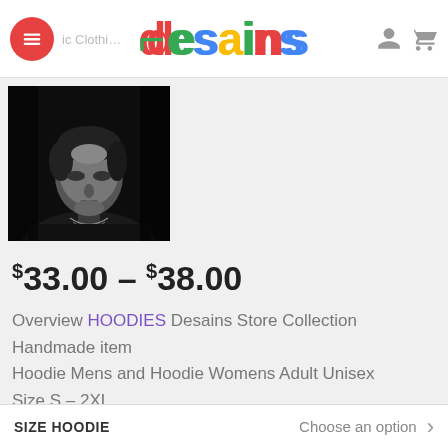desains — Graphic Clothing store header with hamburger menu, user icon, and cart icon
[Figure (photo): Black and white portrait photo of a man looking upward, wearing a dark outfit with chain necklace]
$33.00 – $38.00
Overview HOODIES Desains Store Collection
Handmade item
Hoodie Mens and Hoodie Womens Adult Unisex
Size S – 2XL
Material: Cotton
Made to order
Ships worldwide from US
SIZE HOODIE   Choose an option